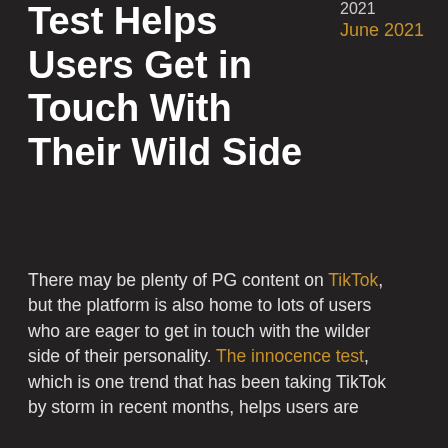Test Helps Users Get in Touch With Their Wild Side
2021
June 2021
There may be plenty of PG content on TikTok, but the platform is also home to lots of users who are eager to get in touch with the wilder side of their personality. The innocence test, which is one trend that has been taking TikTok by storm in recent months, helps users are